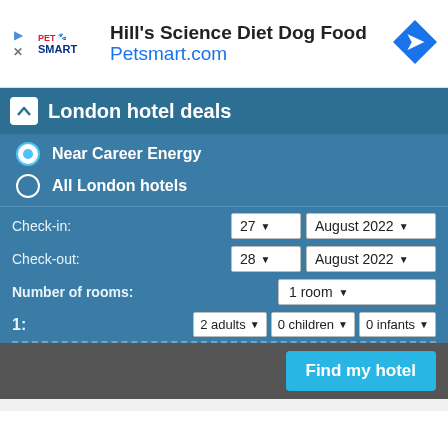[Figure (infographic): PetSmart advertisement banner for Hill's Science Diet Dog Food with logo and Petsmart.com URL]
London hotel deals
Near Career Energy
All London hotels
Check-in: 27 August 2022
Check-out: 28 August 2022
Number of rooms: 1 room
1: 2 adults 0 children 0 infants
Find my hotel